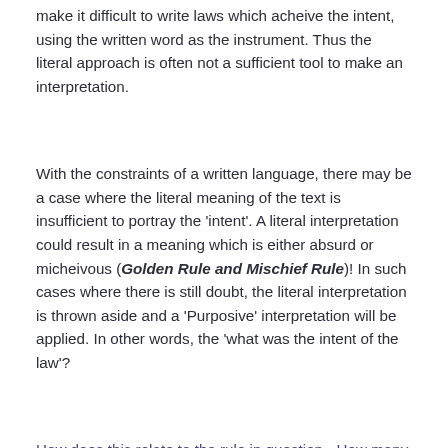make it difficult to write laws which acheive the intent, using the written word as the instrument. Thus the literal approach is often not a sufficient tool to make an interpretation.
With the constraints of a written language, there may be a case where the literal meaning of the text is insufficient to portray the 'intent'. A literal interpretation could result in a meaning which is either absurd or micheivous (Golden Rule and Mischief Rule)! In such cases where there is still doubt, the literal interpretation is thrown aside and a 'Purposive' interpretation will be applied. In other words, the 'what was the intent of the law'?
How does this relate to the rule in question - How many hours to add-on a category?
In my post above, you will see I the rule interpreted using a more 'purposive' approach. That is, I made some assumptions on the intent of the law makers. The main one is that the FAA must see